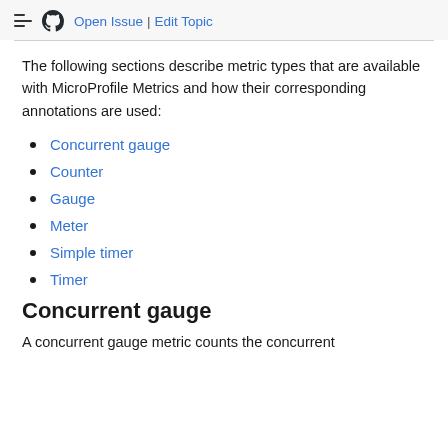Open Issue | Edit Topic
The following sections describe metric types that are available with MicroProfile Metrics and how their corresponding annotations are used:
Concurrent gauge
Counter
Gauge
Meter
Simple timer
Timer
Concurrent gauge
A concurrent gauge metric counts the concurrent